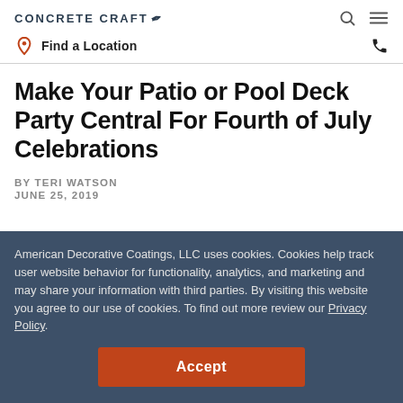CONCRETE CRAFT
Find a Location
Make Your Patio or Pool Deck Party Central For Fourth of July Celebrations
BY TERI WATSON
JUNE 25, 2019
American Decorative Coatings, LLC uses cookies. Cookies help track user website behavior for functionality, analytics, and marketing and may share your information with third parties. By visiting this website you agree to our use of cookies. To find out more review our Privacy Policy.
Accept